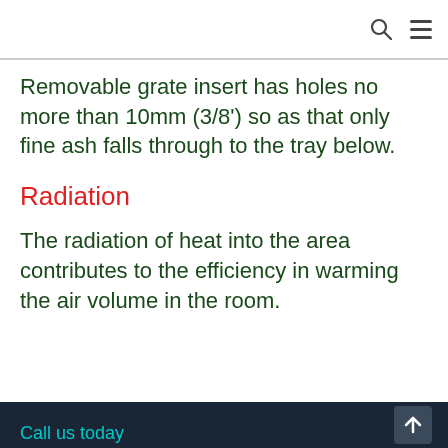Removable grate insert has holes no more than 10mm (3/8') so as that only fine ash falls through to the tray below.
Radiation
The radiation of heat into the area contributes to the efficiency in warming the air volume in the room.